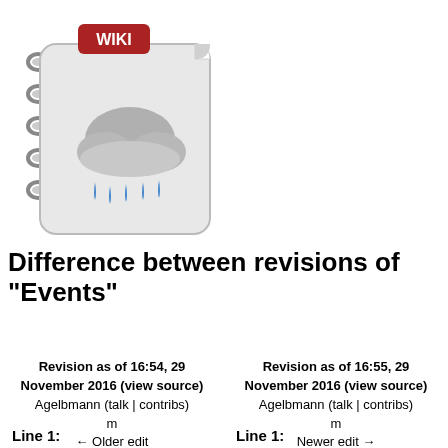[Figure (logo): Wiki weather app logo: a spiral notebook with a cloud and rain icon, and a red 'WIKI' badge at top left]
Difference between revisions of "Events"
Revision as of 16:54, 29 November 2016 (view source)
Agelbmann (talk | contribs)
m
← Older edit
Revision as of 16:55, 29 November 2016 (view source)
Agelbmann (talk | contribs)
m
Newer edit →
Line 1:
Line 1: